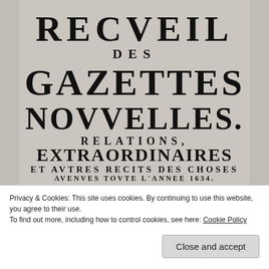[Figure (photo): Scanned title page of a 17th century French periodical publication reading: RECVEIL DES GAZETTES NOUVELLES, RELATIONS, EXTRAORDINAIRES ET AVTRES RECITS DES CHOSES AVENVES TOVTE L'ANNEE 1634. DEDIE AV ROY.]
Privacy & Cookies: This site uses cookies. By continuing to use this website, you agree to their use.
To find out more, including how to control cookies, see here: Cookie Policy
Close and accept